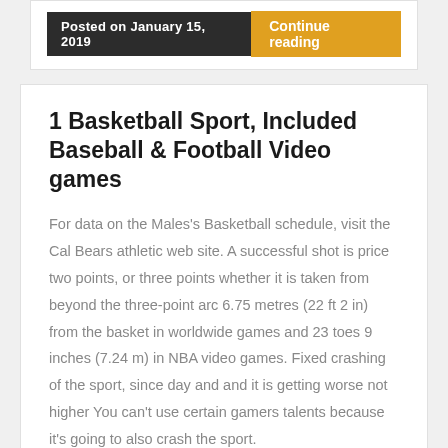Posted on January 15, 2019 | Continue reading
1 Basketball Sport, Included Baseball & Football Video games
For data on the Males's Basketball schedule, visit the Cal Bears athletic web site. A successful shot is price two points, or three points whether it is taken from beyond the three-point arc 6.75 metres (22 ft 2 in) from the basket in worldwide games and 23 toes 9 inches (7.24 m) in NBA video games. Fixed crashing of the sport, since day and and it is getting worse not higher You can't use certain gamers talents because it's going to also crash the sport.
Basketball groups usually have participant positions , the tallest and strongest members of a workforce are kno as a middle or energy forward , whereas slightly shorter